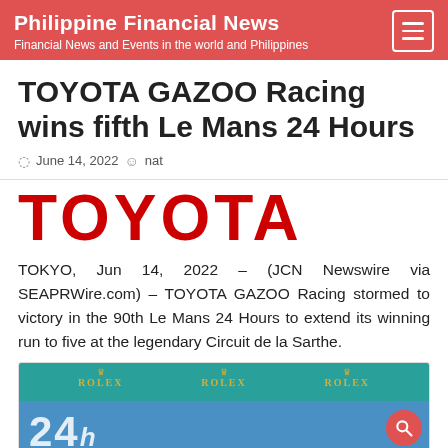Philippine Financial News — Financial News and Events in the world and Philippines
TOYOTA GAZOO Racing wins fifth Le Mans 24 Hours
June 14, 2022  nat
[Figure (logo): TOYOTA logo in bold red uppercase letters]
TOKYO, Jun 14, 2022 – (JCN Newswire via SEAPRWire.com) – TOYOTA GAZOO Racing stormed to victory in the 90th Le Mans 24 Hours to extend its winning run to five at the legendary Circuit de la Sarthe.
[Figure (photo): Podium celebration photo showing racing team members holding trophies aloft against a teal and blue background with Rolex branding and 24h Le Mans logos]